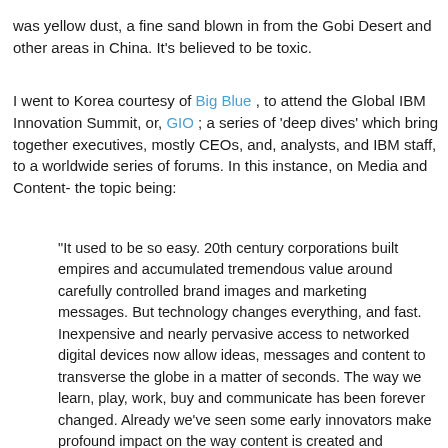was yellow dust, a fine sand blown in from the Gobi Desert and other areas in China. It's believed to be toxic.
I went to Korea courtesy of Big Blue , to attend the Global IBM Innovation Summit, or, GIO ; a series of 'deep dives' which bring together executives, mostly CEOs, and, analysts, and IBM staff, to a worldwide series of forums. In this instance, on Media and Content- the topic being:
"It used to be so easy. 20th century corporations built empires and accumulated tremendous value around carefully controlled brand images and marketing messages. But technology changes everything, and fast. Inexpensive and nearly pervasive access to networked digital devices now allow ideas, messages and content to transverse the globe in a matter of seconds. The way we learn, play, work, buy and communicate has been forever changed. Already we've seen some early innovators make profound impact on the way content is created and consumed. More disruption is sure to come."
There are seven Deep Dives in the Media and Content